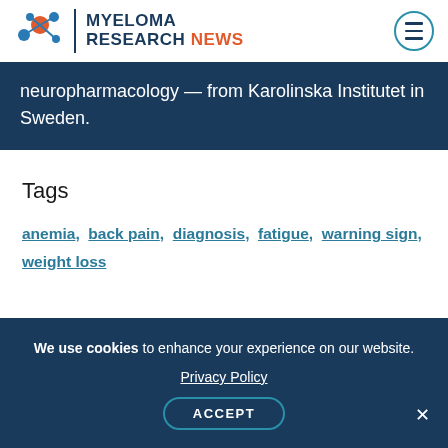MYELOMA RESEARCH NEWS
neuropharmacology — from Karolinska Institutet in Sweden.
Tags
anemia, back pain, diagnosis, fatigue, warning sign, weight loss
We use cookies to enhance your experience on our website. Privacy Policy ACCEPT